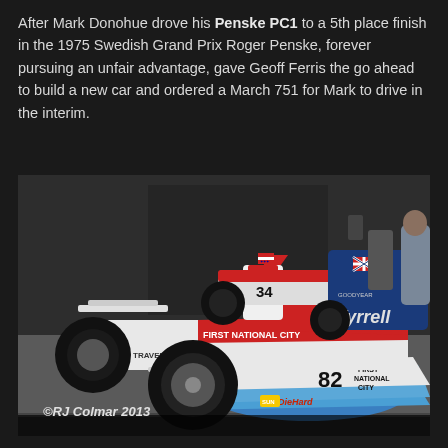After Mark Donohue drove his Penske PC1 to a 5th place finish in the 1975 Swedish Grand Prix Roger Penske, forever pursuing an unfair advantage, gave Geoff Ferris the go ahead to build a new car and ordered a March 751 for Mark to drive in the interim.
[Figure (photo): Photograph of Formula 1 racing cars in a pit/garage area. Foreground shows a white, red and blue car numbered 82 with 'FIRST NATIONAL CITY' and 'TRAVELERS' and 'DieHard' livery. Behind it is a dark blue Tyrrell car numbered 23 and another car numbered 34. Photo credit: ©RJ Colmar 2013.]